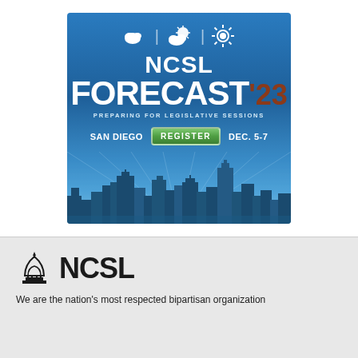[Figure (infographic): NCSL Forecast '23 conference advertisement banner. Blue background with city skyline silhouette. Weather icons (cloud, partly cloudy, sun) at top. Text: NCSL FORECAST'23, PREPARING FOR LEGISLATIVE SESSIONS, SAN DIEGO, REGISTER button, DEC. 5-7.]
[Figure (logo): NCSL logo with capitol dome icon and bold NCSL text]
We are the nation's most respected bipartisan organization